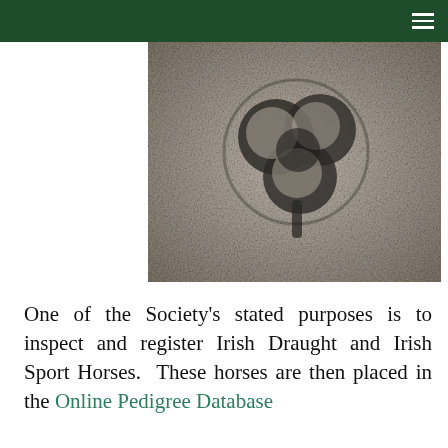[Figure (photo): Black and white grainy photograph of a shamrock or clover symbol embossed or carved into a rough stone or textured surface]
One of the Society's stated purposes is to inspect and register Irish Draught and Irish Sport Horses.  These horses are then placed in the Online Pedigree Database